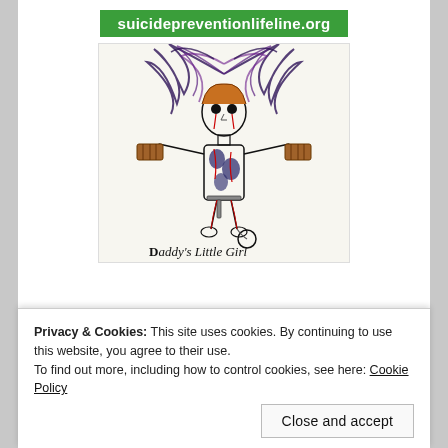suicidepreventionlifeline.org
[Figure (illustration): Hand-drawn illustration of a stylized figure labeled 'Daddy's Little Girl' holding objects in both hands, with dark feathers/wings behind, drawn in pen with red, black, and purple ink on white paper.]
Privacy & Cookies: This site uses cookies. By continuing to use this website, you agree to their use.
To find out more, including how to control cookies, see here: Cookie Policy
Close and accept